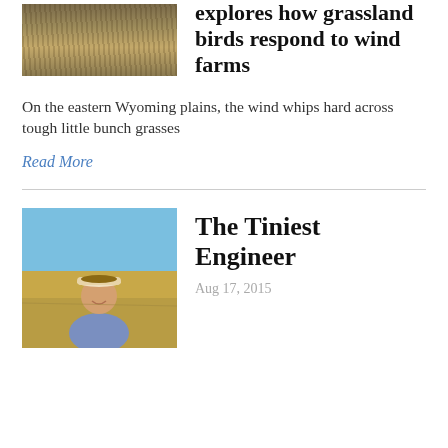[Figure (photo): Close-up photo of dry grassland / bunch grasses, brown and tan tones]
explores how grassland birds respond to wind farms
On the eastern Wyoming plains, the wind whips hard across tough little bunch grasses
Read More
[Figure (photo): Portrait photo of a woman wearing a visor outdoors in a grassy plain under blue sky]
The Tiniest Engineer
Aug 17, 2015